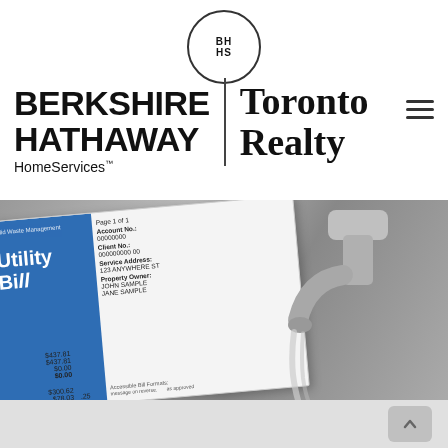[Figure (logo): Berkshire Hathaway HomeServices Toronto Realty logo with circular BH/HS emblem, company name in bold sans-serif, and Toronto Realty in serif font, with hamburger menu icon]
[Figure (photo): Photo of a utility bill document (showing Account No., Client No., Service Address, Property Owner: JOHN SAMPLE / JANE SAMPLE, amounts $437.81, $437.81, $0.00, $0.00, $300.62, $78.03) alongside a close-up of a chrome faucet with water running, in black and white]
[Figure (other): Light grey bottom bar with scroll-to-top button arrow]